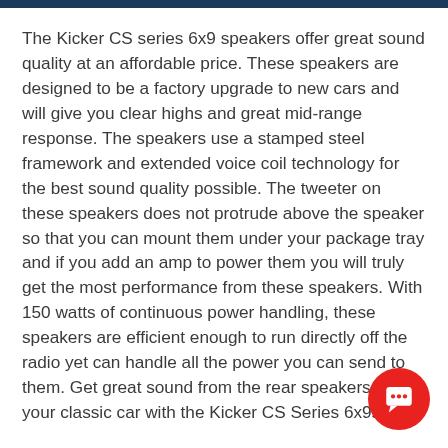The Kicker CS series 6x9 speakers offer great sound quality at an affordable price. These speakers are designed to be a factory upgrade to new cars and will give you clear highs and great mid-range response. The speakers use a stamped steel framework and extended voice coil technology for the best sound quality possible. The tweeter on these speakers does not protrude above the speaker so that you can mount them under your package tray and if you add an amp to power them you will truly get the most performance from these speakers. With 150 watts of continuous power handling, these speakers are efficient enough to run directly off the radio yet can handle all the power you can send to them. Get great sound from the rear speakers in your classic car with the Kicker CS Series 6x9s.